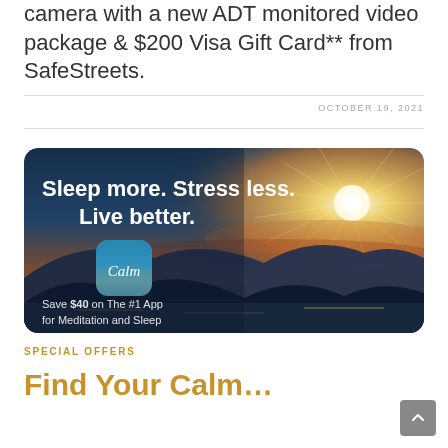Camera with a new ADT monitored video package & $200 Visa Gift Card** from SafeStreets.
OCTOBER 19, 2021
[Figure (illustration): Calm app advertisement banner showing a sunset/sunrise landscape with mountains and sea. Text reads: Sleep more. Stress less. Live better. Calm app icon. Save $40 on The #1 App for Meditation and Sleep.]
SPECIAL OFFERS
Find Your Calm…